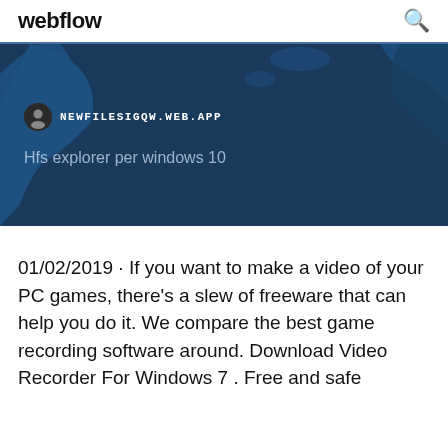webflow
[Figure (screenshot): Hero banner with dark blue map background showing NEWFILESIGQW.WEB.APP site URL and title 'Hfs explorer per windows 10']
01/02/2019 · If you want to make a video of your PC games, there's a slew of freeware that can help you do it. We compare the best game recording software around. Download Video Recorder For Windows 7 . Free and safe